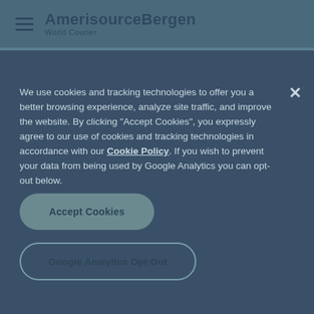AmerisourceBergen World Courier
We use cookies and tracking technologies to offer you a better browsing experience, analyze site traffic, and improve the website. By clicking “Accept Cookies”, you expressly agree to our use of cookies and tracking technologies in accordance with our Cookie Policy. If you wish to prevent your data from being used by Google Analytics you can opt-out below.
Accept Cookies
Google Analytics Opt-Out